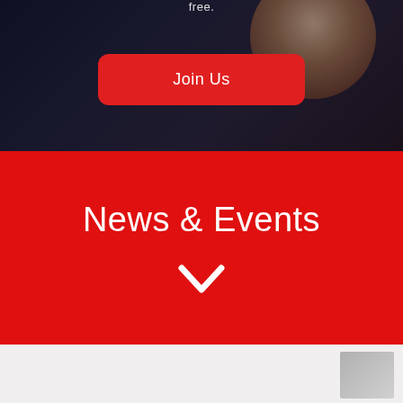[Figure (photo): Dark background photo of smiling person, partially visible at top of page with text 'free.' visible at top]
Join Us
News & Events
[Figure (illustration): White chevron/downward arrow icon on red background]
[Figure (photo): Partial thumbnail image in bottom right corner on light grey background]